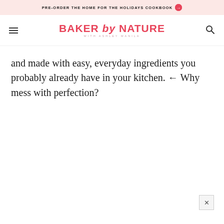PRE-ORDER THE HOME FOR THE HOLIDAYS COOKBOOK →
[Figure (logo): Baker by Nature with Ashley Manila logo in coral/pink color]
and made with easy, everyday ingredients you probably already have in your kitchen. ← Why mess with perfection?